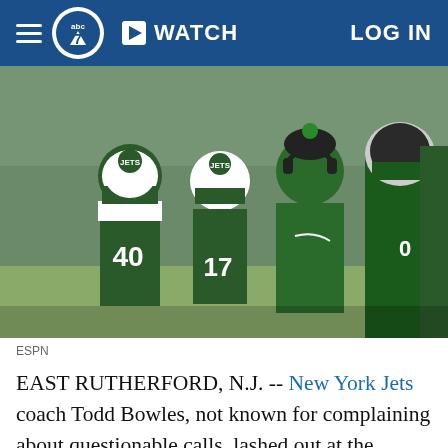abc7 | WATCH | LOG IN
[Figure (photo): New York Jets players in green uniforms (#40 and #17) standing on sideline with coaches wearing headsets, outdoor stadium setting]
ESPN
EAST RUTHERFORD, N.J. -- New York Jets coach Todd Bowles, not known for complaining about questionable calls, lashed out at the officiating Sunday after a penalty-marred overtime loss to the